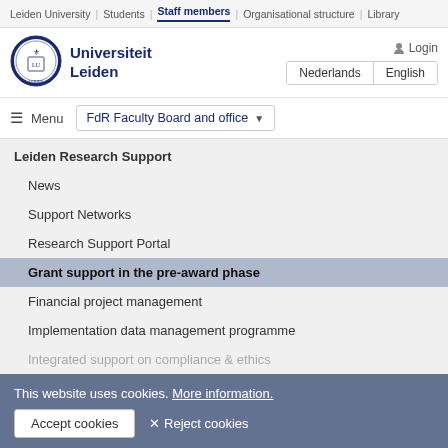Leiden University | Students | Staff members | Organisational structure | Library
[Figure (logo): Leiden University seal/crest logo circle]
Universiteit Leiden
Login
Nederlands | English
≡ Menu   FdR Faculty Board and office ▼
Leiden Research Support
News
Support Networks
Research Support Portal
Grant support in the pre-award phase
Financial project management
Implementation data management programme
Integrated support on compliance & ethics
This website uses cookies. More information.
Accept cookies   ✕ Reject cookies